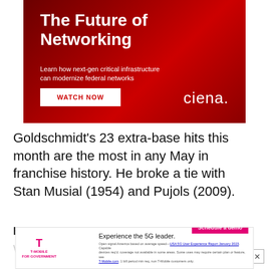[Figure (illustration): Ciena advertisement banner with dark red background. Large white bold text reads 'The Future of Networking'. Below it, white text: 'Learn how next-gen critical infrastructure can modernize federal networks'. A white 'WATCH NOW' button in red text, and 'ciena.' logo in white on the right.]
Goldschmidt’s 23 extra-base hits this month are the most in any May in franchise history. He broke a tie with Stan Musial (1954) and Pujols (2009).
BATTERYMATES
[Figure (illustration): T-Mobile for Government advertisement banner. Left side shows T-Mobile magenta logo. Right side text: 'Experience the 5G leader.' with pink 'Schedule a demo' button and fine print below.]